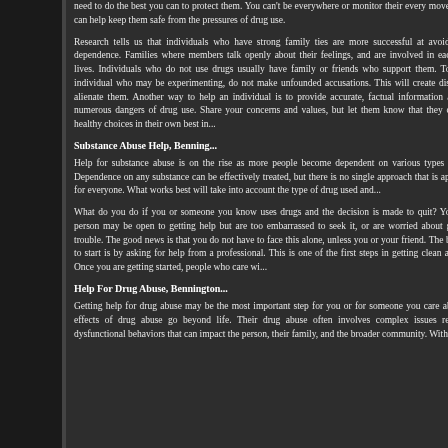need to do the best you can to protect them. You can't be everywhere or monitor their every move, but you can help keep them safe from the pressures of drug use.
Research tells us that individuals who have strong family ties are more successful at avoiding drug dependence. Families where members talk openly about their feelings, and are involved in each other's lives. Individuals who do not use drugs usually have family or friends who support them. To help an individual who may be experimenting, do not make unfounded accusations. This will create distrust and alienate them. Another way to help an individual is to provide accurate, factual information about the numerous dangers of drug use. Share your concerns and values, but let them know that they can make healthy choices in their own best interest.
Substance Abuse Help, Benning...
Help for substance abuse is on the rise as more people become dependent on various types of drugs. Dependence on any substance can be effectively treated, but there is no single approach that is appropriate for everyone. What works best will take into account the type of drug used and...
What do you do if you or someone you know uses drugs and the decision is made to quit? You or this person may be open to getting help but are too embarrassed to seek it, or are worried about getting in trouble. The good news is that you do not have to face this alone, unless you or your friend. The best place to start is by asking for help from a professional. This is one of the first steps in getting clean and sober. Once you are getting started, people who care wi...
Help For Drug Abuse, Bennington...
Getting help for drug abuse may be the most important step for you or for someone you care about. The effects of drug abuse go beyond life. Their drug abuse often involves complex issues relating to dysfunctional behaviors that can impact the person, their family, and the broader community. Witho...